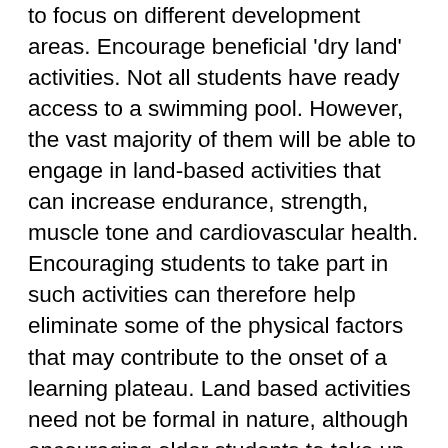to focus on different development areas. Encourage beneficial 'dry land' activities. Not all students have ready access to a swimming pool. However, the vast majority of them will be able to engage in land-based activities that can increase endurance, strength, muscle tone and cardiovascular health. Encouraging students to take part in such activities can therefore help eliminate some of the physical factors that may contribute to the onset of a learning plateau. Land based activities need not be formal in nature, although encouraging older students to take up a bit of running or even weight training will probably be of great benefit to them when they take to the water. Land based activities can also include simple self directed exercises given to students to help them improve on specific motor skills (e.g. kicking) required for success in the pool. Emphasize the importance of rest and recovery: Sometimes older students respond to a learning plateau by attempting to 'train through it'. This can lead to overexertion and exercise. The